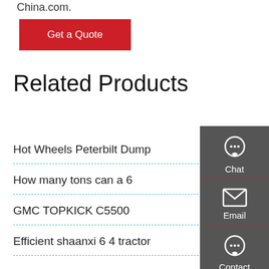China.com.
[Figure (other): Red 'Get a Quote' button]
Related Products
Hot Wheels Peterbilt Dump
FORD F550 Dump Trucks
How many tons can a 6
Genuine 6x6 10 1 Euro 5
GMC TOPKICK C5500
hot sale beiben hino fa
Efficient shaanxi 6 4 tractor
hand 8x4 Tipper truck
[Figure (other): Sidebar with Chat, Email, Contact, and Top navigation icons on dark grey background]